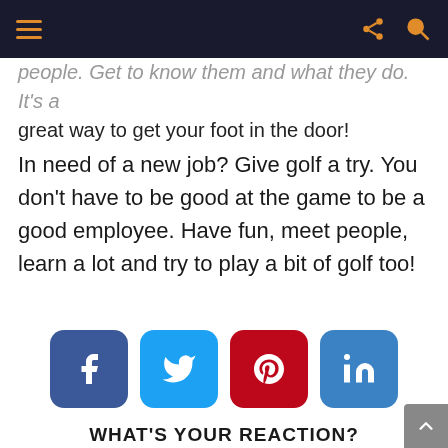[navigation bar with hamburger menu, share icon, search icon]
people. Get to know them and what they do. It's a great way to get your foot in the door!
In need of a new job? Give golf a try. You don't have to be good at the game to be a good employee. Have fun, meet people, learn a lot and try to play a bit of golf too!
[Figure (infographic): Social media share buttons: Facebook (blue), Twitter (light blue), Pinterest (red), LinkedIn (blue)]
WHAT'S YOUR REACTION?
[Figure (infographic): Four emoji reaction faces: heart-eyes, angry, laughing, wide-eyed surprised]